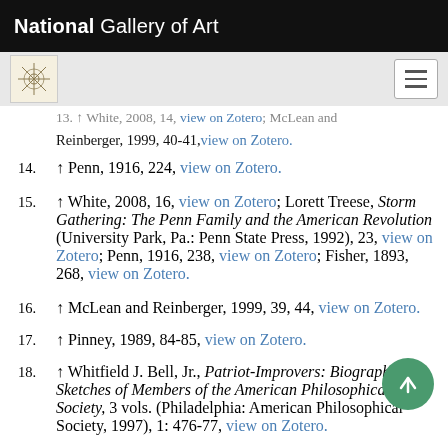National Gallery of Art
13. ↑ White, 2008, 14, view on Zotero; McLean and Reinberger, 1999, 40-41, view on Zotero.
14. ↑ Penn, 1916, 224, view on Zotero.
15. ↑ White, 2008, 16, view on Zotero; Lorett Treese, Storm Gathering: The Penn Family and the American Revolution (University Park, Pa.: Penn State Press, 1992), 23, view on Zotero; Penn, 1916, 238, view on Zotero; Fisher, 1893, 268, view on Zotero.
16. ↑ McLean and Reinberger, 1999, 39, 44, view on Zotero.
17. ↑ Pinney, 1989, 84-85, view on Zotero.
18. ↑ Whitfield J. Bell, Jr., Patriot-Improvers: Biographical Sketches of Members of the American Philosophical Society, 3 vols. (Philadelphia: American Philosophical Society, 1997), 1: 476-77, view on Zotero.
19. ↑ Mark Laird, The Flowering of the Landscape Garden…